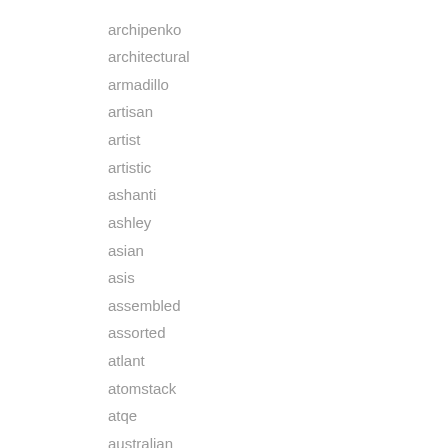archipenko
architectural
armadillo
artisan
artist
artistic
ashanti
ashley
asian
asis
assembled
assorted
atlant
atomstack
atqe
australian